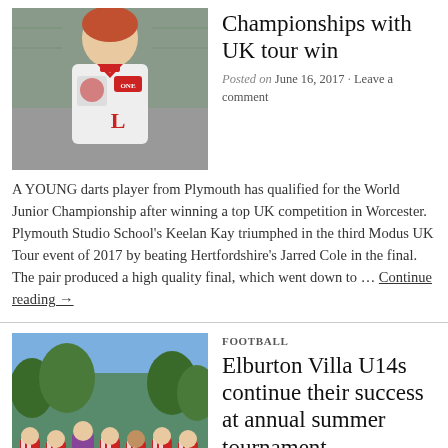[Figure (photo): Young boy in England darts shirt standing indoors]
Championships with UK tour win
Posted on June 16, 2017 · Leave a comment
A YOUNG darts player from Plymouth has qualified for the World Junior Championship after winning a top UK competition in Worcester. Plymouth Studio School's Keelan Kay triumphed in the third Modus UK Tour event of 2017 by beating Hertfordshire's Jarred Cole in the final. The pair produced a high quality final, which went down to … Continue reading →
FOOTBALL
[Figure (photo): Group of young football players in red and white striped kits standing on a field]
Elburton Villa U14s continue their success at annual summer tournament
Posted on June 16, 2017 · Leave a